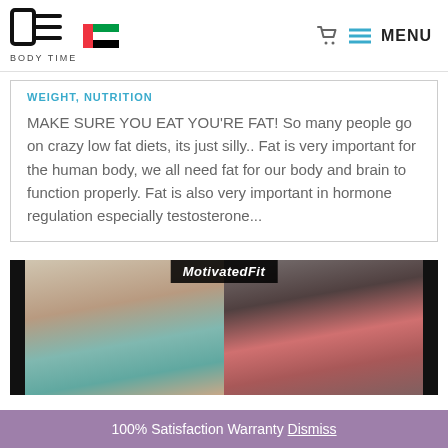BODY TIME | MENU
WEIGHT, NUTRITION
MAKE SURE YOU EAT YOU'RE FAT! So many people go on crazy low fat diets, its just silly.. Fat is very important for the human body, we all need fat for our body and brain to function properly. Fat is also very important in hormone regulation especially testosterone...
[Figure (photo): MotivatedFit branded before/after photos showing two women in bikinis]
100% Satisfaction Warranty Dismiss